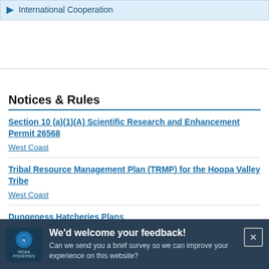International Cooperation
Notices & Rules
Section 10 (a)(1)(A) Scientific Research and Enhancement Permit 26568 — West Coast
Tribal Resource Management Plan (TRMP) for the Hoopa Valley Tribe — West Coast
Dungeness Hatcheries Plans — West Coast
We'd welcome your feedback! Can we send you a brief survey so we can improve your experience on this website?